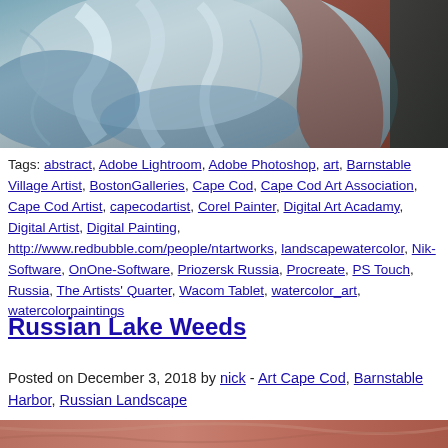[Figure (photo): Abstract digital painting with blue, white, and brown tones — cropped top portion of an artwork]
Tags: abstract, Adobe Lightroom, Adobe Photoshop, art, Barnstable Village Artist, BostonGalleries, Cape Cod, Cape Cod Art Association, Cape Cod Artist, capecodartist, Corel Painter, Digital Art Acadamy, Digital Artist, Digital Painting, http://www.redbubble.com/people/ntartworks, landscapewatercolor, Nik-Software, OnOne-Software, Priozersk Russia, Procreate, PS Touch, Russia, The Artists' Quarter, Wacom Tablet, watercolor_art, watercolorpaintings
Russian Lake Weeds
Posted on December 3, 2018 by nick - Art Cape Cod, Barnstable Harbor, Russian Landscape
[Figure (photo): Brownish-red textured painting — bottom strip visible at page edge]